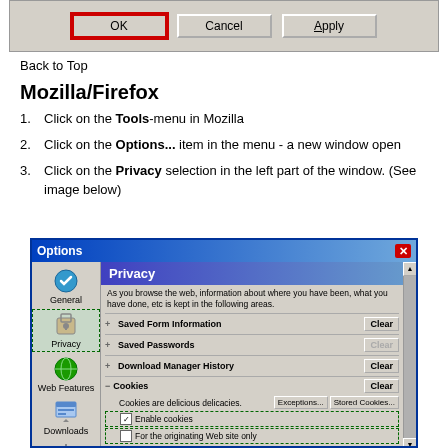[Figure (screenshot): Dialog box bottom with OK (highlighted in red), Cancel, and Apply buttons on a grey Windows dialog background]
Back to Top
Mozilla/Firefox
Click on the Tools-menu in Mozilla
Click on the Options... item in the menu - a new window open
Click on the Privacy selection in the left part of the window. (See image below)
[Figure (screenshot): Mozilla Firefox Options dialog showing Privacy panel with sections: Saved Form Information, Saved Passwords, Download Manager History, Cookies (expanded) with Enable cookies checkbox and 'For the originating Web site only' checkbox. Left sidebar shows General, Privacy (selected), Web Features, Downloads, Advanced icons.]